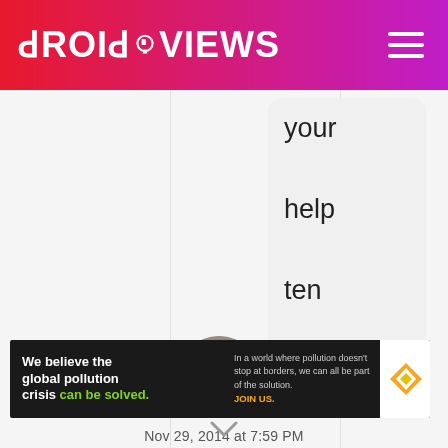DroidViews
your help ten fold!
[Figure (photo): Circular avatar photo of a man wearing sunglasses]
Nov 29, 2014 at 7:59 PM
[Figure (infographic): Pure Earth advertisement banner: 'We believe the global pollution crisis can be solved. In a world where pollution doesn't stop at borders, we can all be part of the solution. JOIN US.' with Pure Earth logo.]